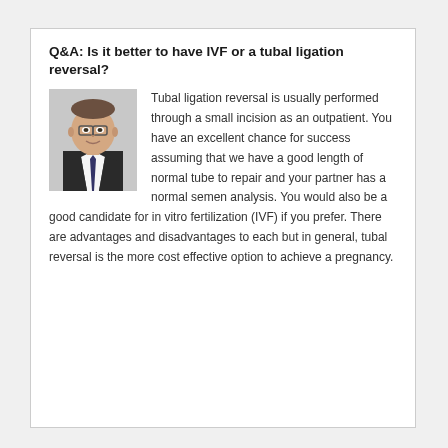Q&A: Is it better to have IVF or a tubal ligation reversal?
[Figure (photo): Headshot of a male doctor wearing glasses and a dark suit with a tie, against a light grey background.]
Tubal ligation reversal is usually performed through a small incision as an outpatient. You have an excellent chance for success assuming that we have a good length of normal tube to repair and your partner has a normal semen analysis. You would also be a good candidate for in vitro fertilization (IVF) if you prefer. There are advantages and disadvantages to each but in general, tubal reversal is the more cost effective option to achieve a pregnancy.